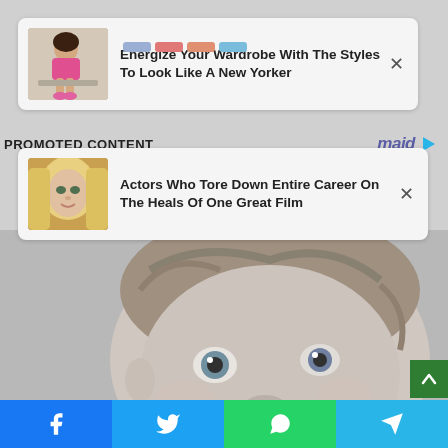[Figure (screenshot): Ad card 1: Woman in pink sitting on bench, with text 'Energize Your Wardrobe With The Styles To Look Like A New Yorker' and X close button]
PROMOTED CONTENT
[Figure (logo): maid logo with play icon]
[Figure (screenshot): Ad card 2: Blonde actress photo, with text 'Actors Who Tore Down Entire Career On The Heals Of One Great Film' and X close button]
[Figure (photo): Black and white close-up photo of a young child's face]
[Figure (infographic): Social share bar with Facebook, Twitter, WhatsApp, and Telegram buttons]